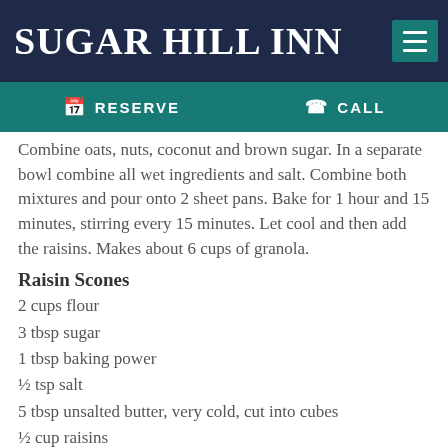SUGAR HILL INN
RESERVE   CALL
Combine oats, nuts, coconut and brown sugar. In a separate bowl combine all wet ingredients and salt. Combine both mixtures and pour onto 2 sheet pans. Bake for 1 hour and 15 minutes, stirring every 15 minutes. Let cool and then add the raisins. Makes about 6 cups of granola.
Raisin Scones
2 cups flour
3 tbsp sugar
1 tbsp baking power
½ tsp salt
5 tbsp unsalted butter, very cold, cut into cubes
½ cup raisins
1 cup heavy cream
Preheat oven to 425.